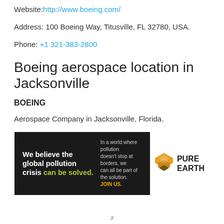Website: http://www.boeing.com/
Address: 100 Boeing Way, Titusville, FL 32780, USA.
Phone: +1 321-383-2800
Boeing aerospace location in Jacksonville
BOEING
Aerospace Company in Jacksonville, Florida.
[Figure (infographic): Pure Earth advertisement banner: 'We believe the global pollution crisis can be solved. In a world where pollution doesn't stop at borders, we can all be part of the solution. JOIN US.' with Pure Earth logo.]